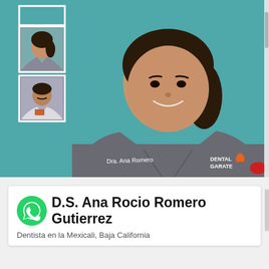[Figure (photo): A female dentist wearing grey scrubs labeled 'Dra. Ana Romero' and 'Dental Garate' logo, standing in front of a teal background. Two smaller thumbnail photos of dental staff on the left side, and a white rectangle outline in the top-left corner.]
D.S. Ana Rocio Romero Gutierrez
Dentista en la Mexicali, Baja California